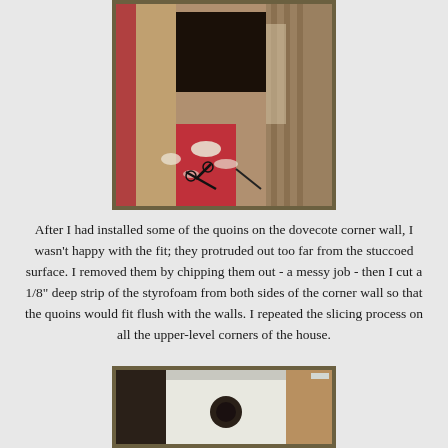[Figure (photo): A construction scene showing a hole cut into a corner wall section with exposed rough material and debris on a red floor. Scissors and a pen/marker are visible on the floor among debris.]
After I had installed some of the quoins on the dovecote corner wall, I wasn't happy with the fit; they protruded out too far from the stuccoed surface. I removed them by chipping them out - a messy job - then I cut a 1/8" deep strip of the styrofoam from both sides of the corner wall so that the quoins would fit flush with the walls. I repeated the slicing process on all the upper-level corners of the house.
[Figure (photo): A construction or craft scene showing what appears to be a wall or panel with a circular element, partially visible at the bottom of the page.]